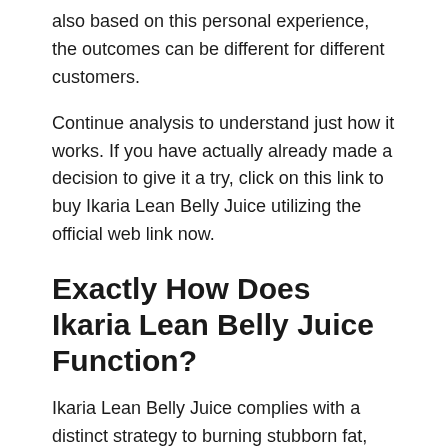also based on this personal experience, the outcomes can be different for different customers.
Continue analysis to understand just how it works. If you have actually already made a decision to give it a try, click on this link to buy Ikaria Lean Belly Juice utilizing the official web link now.
Exactly How Does Ikaria Lean Belly Juice Function?
Ikaria Lean Belly Juice complies with a distinct strategy to burning stubborn fat, which nothing else dietary formula offers. It is neither a